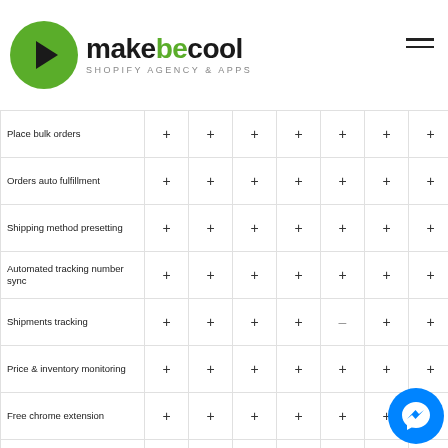[Figure (logo): makebecool logo with green circle and arrow, Shopify Agency & Apps tagline]
| Feature | unlimited | 1000 | 100000 | 50 | 500 | unlimited |
| --- | --- | --- | --- | --- | --- | --- |
| Place bulk orders | + | + | + | + | + | + | + |
| Orders auto fulfillment | + | + | + | + | + | + | + |
| Shipping method presetting | + | + | + | + | + | + | + |
| Automated tracking number sync | + | + | + | + | + | + | + |
| Shipments tracking | + | + | + | + | – | + | + |
| Price & inventory monitoring | + | + | + | + | + | + | + |
| Free chrome extension | + | + | + | + | + | + | + |
| Sales/Profit report | – | ? | – | + | + | + | + |
| Affiliate program | – | + | + | + | + | + |  |
| Pricing Automation | + | + | + | + | + | + | + |